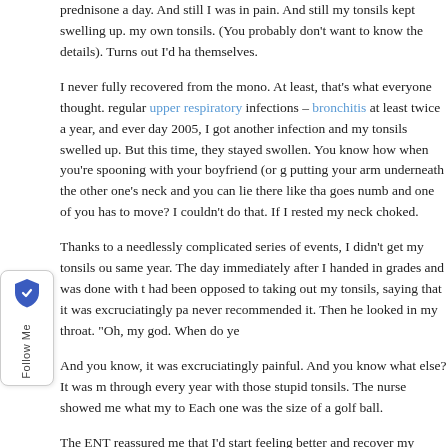prednisone a day. And still I was in pain. And still my tonsils kept swelling up. my own tonsils. (You probably don't want to know the details). Turns out I'd had themselves.
I never fully recovered from the mono. At least, that's what everyone thought. regular upper respiratory infections – bronchitis at least twice a year, and ever day 2005, I got another infection and my tonsils swelled up. But this time, they stayed swollen. You know how when you're spooning with your boyfriend (or g putting your arm underneath the other one's neck and you can lie there like that goes numb and one of you has to move? I couldn't do that. If I rested my neck choked.
Thanks to a needlessly complicated series of events, I didn't get my tonsils ou same year. The day immediately after I handed in grades and was done with t had been opposed to taking out my tonsils, saying that it was excruciatingly pa never recommended it. Then he looked in my throat. "Oh, my god. When do ye
And you know, it was excruciatingly painful. And you know what else? It was m through every year with those stupid tonsils. The nurse showed me what my to Each one was the size of a golf ball.
The ENT reassured me that I'd start feeling better and recover my energy, now said they hadn't functioned correctly since the mono (remember the infection i breaks them permanently). He said I was having to fight infection constantly, w
I did feel better. But again, I didn't recover my...